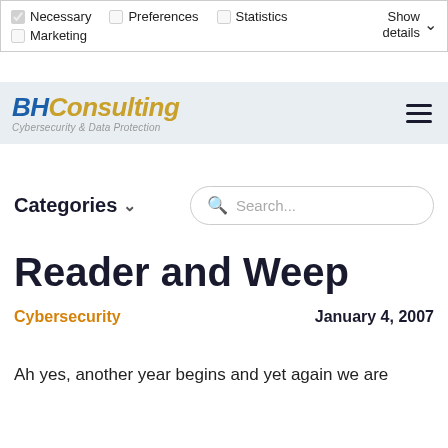Necessary (checked), Preferences, Statistics, Marketing — Show details
[Figure (logo): BH Consulting logo with tagline 'Cybersecurity & Data Protection' and hamburger menu icon]
Categories
Search...
Reader and Weep
Cybersecurity    January 4, 2007
Ah yes, another year begins and yet again we are